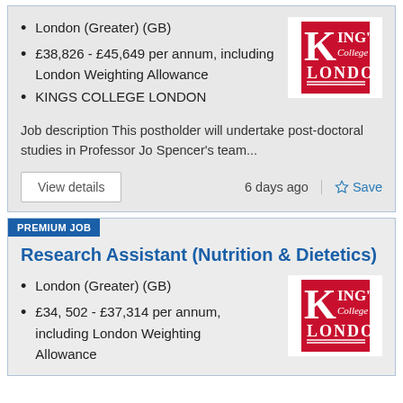London (Greater) (GB)
£38,826 - £45,649 per annum, including London Weighting Allowance
KINGS COLLEGE LONDON
[Figure (logo): King's College London logo — red square with white K and text King's College London]
Job description This postholder will undertake post-doctoral studies in Professor Jo Spencer's team...
View details
6 days ago
Save
PREMIUM JOB
Research Assistant (Nutrition & Dietetics)
London (Greater) (GB)
£34, 502 - £37,314 per annum, including London Weighting Allowance
[Figure (logo): King's College London logo — red square with white K and text King's College London]